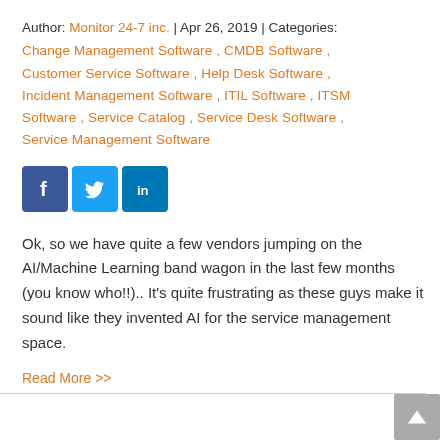Author: Monitor 24-7 inc. | Apr 26, 2019 | Categories:
Change Management Software , CMDB Software , Customer Service Software , Help Desk Software , Incident Management Software , ITIL Software , ITSM Software , Service Catalog , Service Desk Software , Service Management Software
[Figure (infographic): Social media share buttons: Facebook (blue), Twitter (light blue), LinkedIn (dark blue)]
Ok, so we have quite a few vendors jumping on the AI/Machine Learning band wagon in the last few months (you know who!!).. It's quite frustrating as these guys make it sound like they invented AI for the service management space.
Read More >>